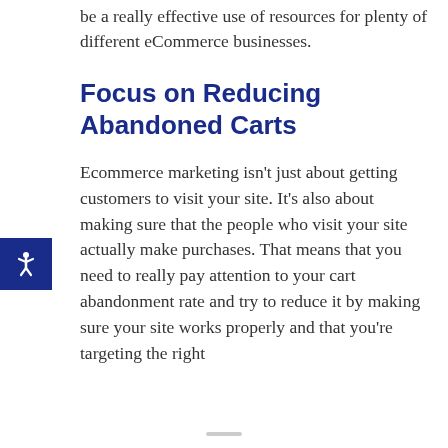be a really effective use of resources for plenty of different eCommerce businesses.
Focus on Reducing Abandoned Carts
Ecommerce marketing isn't just about getting customers to visit your site. It's also about making sure that the people who visit your site actually make purchases. That means that you need to really pay attention to your cart abandonment rate and try to reduce it by making sure your site works properly and that you're targeting the right